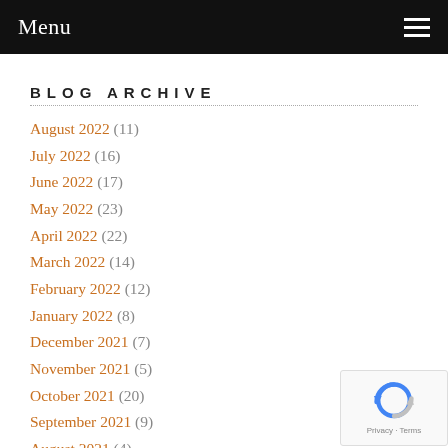Menu
BLOG ARCHIVE
August 2022 (11)
July 2022 (16)
June 2022 (17)
May 2022 (23)
April 2022 (22)
March 2022 (14)
February 2022 (12)
January 2022 (8)
December 2021 (7)
November 2021 (5)
October 2021 (20)
September 2021 (9)
August 2021 (4)
July 2021 (4)
June 2021 (5)